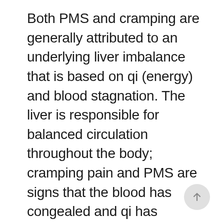Both PMS and cramping are generally attributed to an underlying liver imbalance that is based on qi (energy) and blood stagnation. The liver is responsible for balanced circulation throughout the body; cramping pain and PMS are signs that the blood has congealed and qi has become stuck. The primary cause of liver qi and blood stagnation is emotional in nature and is specifically related to the suppression of anger and frustration. When you feel stuck in your life and your creative resources are thwarted, the natural byproducts are anger and frustration. The continued attachment to these emotions makes us feel stuck on all levels. Thus, the body will mirror